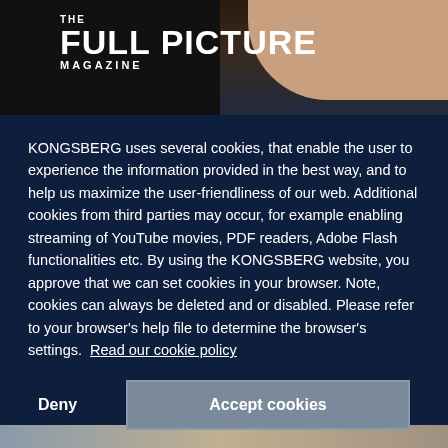[Figure (screenshot): Top banner with 'The Full Picture Magazine' logo on dark/photo background showing a partial arm/skin tone photo on right side]
KONGSBERG uses several cookies, that enable the user to experience the information provided in the best way, and to help us maximize the user-friendliness of our web. Additional cookies from third parties may occur, for example enabling streaming of YouTube movies, PDF readers, Adobe Flash functionalities etc. By using the KONGSBERG website, you approve that we can set cookies in your browser. Note, cookies can always be deleted and or disabled. Please refer to your browser's help file to determine the browser's settings. Read our cookie policy
Deny
Accept cookies